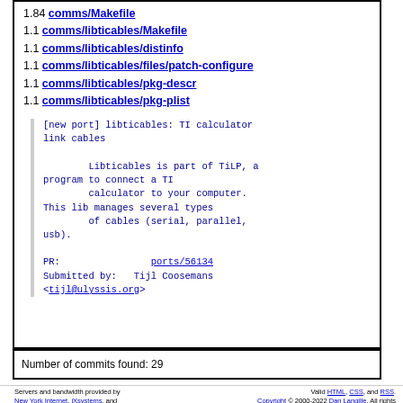1.84 comms/Makefile
1.1 comms/libticables/Makefile
1.1 comms/libticables/distinfo
1.1 comms/libticables/files/patch-configure
1.1 comms/libticables/pkg-descr
1.1 comms/libticables/pkg-plist
[new port] libticables: TI calculator link cables

        Libticables is part of TiLP, a program to connect a TI
        calculator to your computer.
This lib manages several types
        of cables (serial, parallel, usb).

PR:                ports/56134
Submitted by:   Tijl Coosemans <tijl@ulyssis.org>
Number of commits found: 29
Servers and bandwidth provided by New York Internet, iXsystems, and RootBSD. Valid HTML, CSS, and RSS. Copyright © 2000-2022 Dan Langille. All rights reserved.